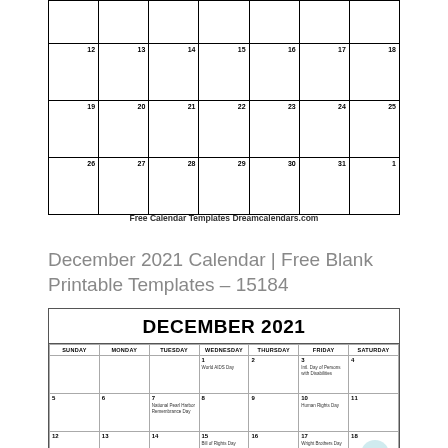|  |  |  |  |  |  |  |
| --- | --- | --- | --- | --- | --- | --- |
| 12 | 13 | 14 | 15 | 16 | 17 | 18 |
| 19 | 20 | 21 | 22 | 23 | 24 | 25 |
| 26 | 27 | 28 | 29 | 30 | 31 | 1 |
Free Calendar Templates Dreamcalendars.com
December 2021 Calendar | Free Blank Printable Templates – 15184
| SUNDAY | MONDAY | TUESDAY | WEDNESDAY | THURSDAY | FRIDAY | SATURDAY |
| --- | --- | --- | --- | --- | --- | --- |
|  |  |  | 1
World AIDS Day | 2 | 3
Intl. Day of Persons with Disabilities | 4 |
| 5 | 6 | 7
National Pearl Harbor Remembrance Day | 8 | 9 | 10
Human Rights Day | 11 |
| 12 | 13 | 14 | 15
Bill of Rights Day | 16 | 17
Wright Brothers Day | 18 |